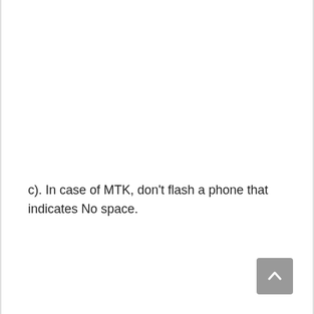c). In case of MTK, don't flash a phone that indicates No space.
[Figure (other): Scroll-to-top button (grey rounded square with upward chevron arrow)]